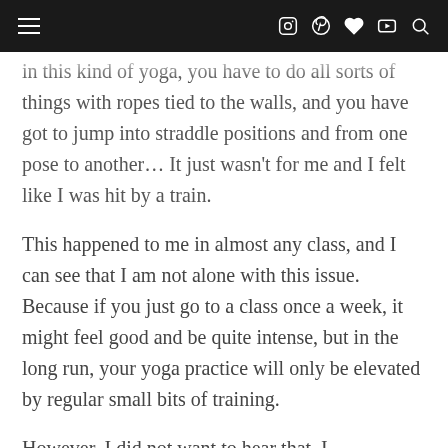Navigation header with hamburger menu and social icons (Instagram, Pinterest, heart/wishlist, YouTube, search)
in this kind of yoga, you have to do all sorts of things with ropes tied to the walls, and you have got to jump into straddle positions and from one pose to another… It just wasn't for me and I felt like I was hit by a train.
This happened to me in almost any class, and I can see that I am not alone with this issue. Because if you just go to a class once a week, it might feel good and be quite intense, but in the long run, your yoga practice will only be elevated by regular small bits of training.
However, I did not want to hear that, I